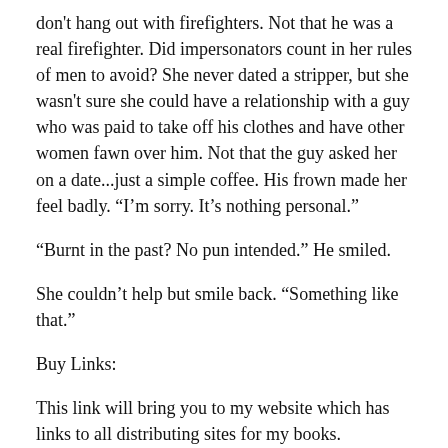don't hang out with firefighters. Not that he was a real firefighter. Did impersonators count in her rules of men to avoid? She never dated a stripper, but she wasn't sure she could have a relationship with a guy who was paid to take off his clothes and have other women fawn over him. Not that the guy asked her on a date...just a simple coffee. His frown made her feel badly. “I’m sorry. It’s nothing personal.”
“Burnt in the past? No pun intended.” He smiled.
She couldn’t help but smile back. “Something like that.”
Buy Links:
This link will bring you to my website which has links to all distributing sites for my books.